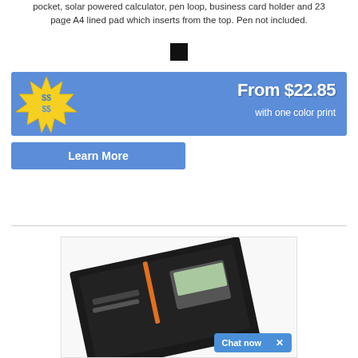pocket, solar powered calculator, pen loop, business card holder and 23 page A4 lined pad which inserts from the top. Pen not included.
[Figure (other): Black color swatch square]
[Figure (infographic): Blue promotional banner with starburst '$$' graphic on left and 'From $22.85 with one color print' text on right]
[Figure (other): Blue 'Learn More' button]
[Figure (photo): Product photo of a black leather portfolio/organizer with calculator and card slots, partially visible]
[Figure (other): Blue 'Chat now' button with X close icon in bottom right corner]